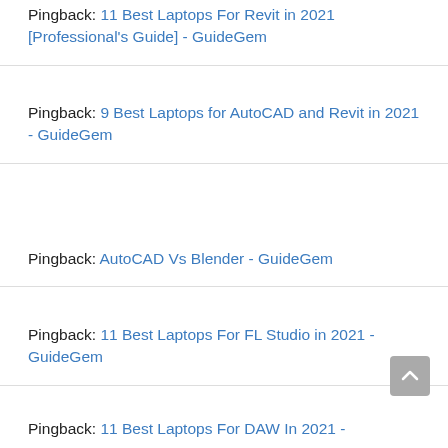Pingback: 11 Best Laptops For Revit in 2021 [Professional's Guide] - GuideGem
Pingback: 9 Best Laptops for AutoCAD and Revit in 2021 - GuideGem
Pingback: AutoCAD Vs Blender - GuideGem
Pingback: 11 Best Laptops For FL Studio in 2021 - GuideGem
Pingback: 11 Best Laptops For DAW In 2021 -